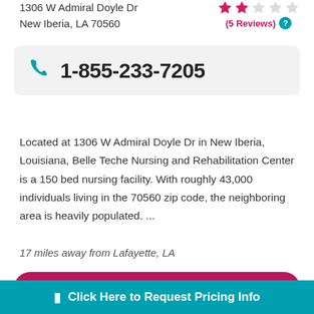1306 W Admiral Doyle Dr
New Iberia, LA 70560
[Figure (other): Star rating display showing 2 filled pink stars and 3 empty stars, with '(5 Reviews)' text and a teal info icon]
1-855-233-7205
Located at 1306 W Admiral Doyle Dr in New Iberia, Louisiana, Belle Teche Nursing and Rehabilitation Center is a 150 bed nursing facility. With roughly 43,000 individuals living in the 70560 zip code, the neighboring area is heavily populated. ...
17 miles away from Lafayette, LA
GET PRICING INFO ›
SEE DETAILS ›
Click Here to Request Pricing Info